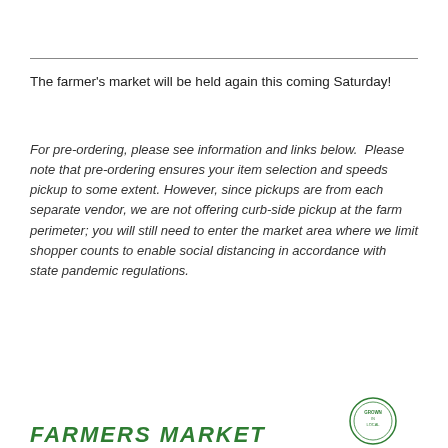The farmer's market will be held again this coming Saturday!
For pre-ordering, please see information and links below.  Please note that pre-ordering ensures your item selection and speeds pickup to some extent. However, since pickups are from each separate vendor, we are not offering curb-side pickup at the farm perimeter; you will still need to enter the market area where we limit shopper counts to enable social distancing in accordance with state pandemic regulations.
FARMERS MARKET